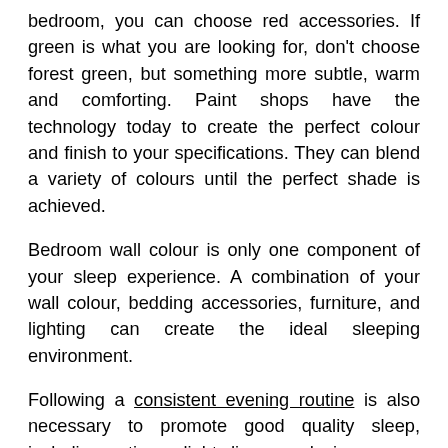bedroom, you can choose red accessories. If green is what you are looking for, don't choose forest green, but something more subtle, warm and comforting. Paint shops have the technology today to create the perfect colour and finish to your specifications. They can blend a variety of colours until the perfect shade is achieved.
Bedroom wall colour is only one component of your sleep experience. A combination of your wall colour, bedding accessories, furniture, and lighting can create the ideal sleeping environment.
Following a consistent evening routine is also necessary to promote good quality sleep, including eating a light dinner, reducing screen time, taking warm baths, practising gentle yoga and meditation.
Dreaming in technicolour is possible when you fall asleep to the perfect 50 shades of your favourite colour!